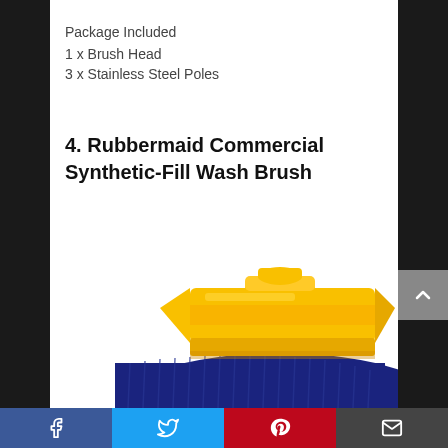Package Included
1 x Brush Head
3 x Stainless Steel Poles
4. Rubbermaid Commercial Synthetic-Fill Wash Brush
[Figure (photo): A yellow and blue Rubbermaid Commercial Synthetic-Fill Wash Brush head viewed from above, showing yellow plastic mount and dense blue bristles.]
Facebook | Twitter | Pinterest | Email